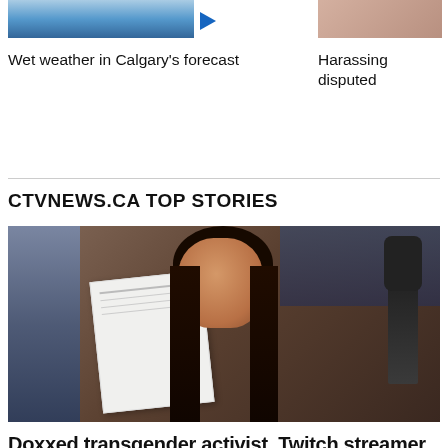[Figure (photo): Thumbnail of wet weather / sky scene with blue tones]
Wet weather in Calgary's forecast
[Figure (photo): Thumbnail of a close-up skin-toned image]
Harassing disputed
CTVNEWS.CA TOP STORIES
[Figure (photo): A dark-haired person holding up a paper document, with a microphone and room background visible. Hexagonal light tiles on the left.]
Doxxed transgender activist, Twitch streamer leaving Canada